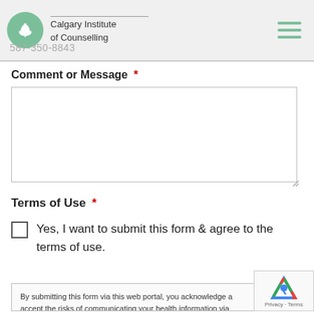Calgary Institute of Counselling | 587-350-8843
Comment or Message *
Terms of Use *
Yes, I want to submit this form & agree to the terms of use.
By submitting this form via this web portal, you acknowledge and accept the risks of communicating your health information via unencrypted email and electronic messaging and wish to continue despite those risks. By clicking "Yes, I want to submit this form" agree to hold Brighter Vision harmless for unauthorized use,